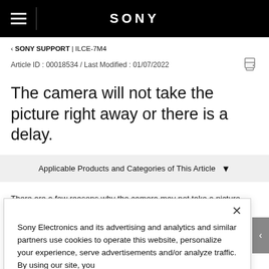SONY
‹ SONY SUPPORT | ILCE-7M4
Article ID : 00018534 / Last Modified : 01/07/2022
The camera will not take the picture right away or there is a delay.
Applicable Products and Categories of This Article
There are a few reasons why the camera may not take a picture immediately when pressing the shutter button.
Sony Electronics and its advertising and analytics and similar partners use cookies to operate this website, personalize your experience, serve advertisements and/or analyze traffic. By using our site, you